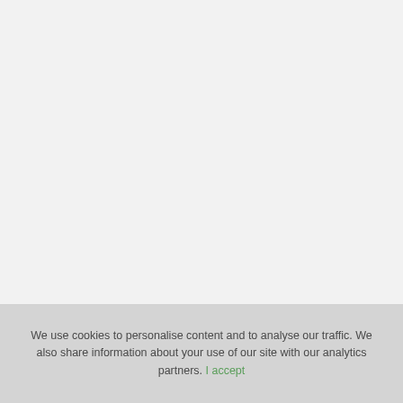We use cookies to personalise content and to analyse our traffic. We also share information about your use of our site with our analytics partners. I accept